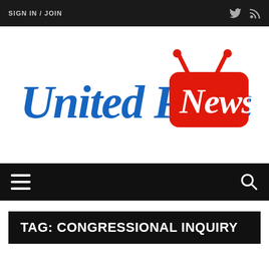SIGN IN / JOIN
[Figure (logo): United Press News logo: 'United Press' in blue blackletter/gothic font, 'News' in white text inside a red rounded-rectangle TV shape with red antennae on top]
≡  🔍
TAG: CONGRESSIONAL INQUIRY